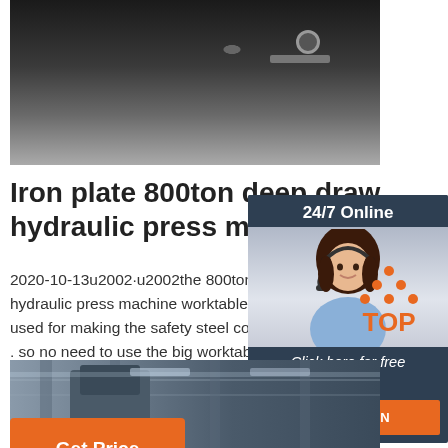[Figure (photo): Industrial machinery / hydraulic press machine close-up, dark metal components]
Iron plate 800ton deep drawing hydraulic press machine ...
2020-10-13u2002·u2002the 800ton deep drawing hydraulic press machine worktable size is 1.2* used for making the safety steel cover devices . so no need to use the big worktable. the buyer the molds by themself. so Primapress only sup hydraulic press machine to him.
[Figure (photo): Woman customer service representative wearing headset, 24/7 Online support widget with blue background, Click here for free chat and QUOTATION button]
[Figure (logo): TOP logo with orange dots arranged in triangle above the word TOP in orange text]
[Figure (photo): Bottom photo of hydraulic press machine in industrial workshop]
Get Price